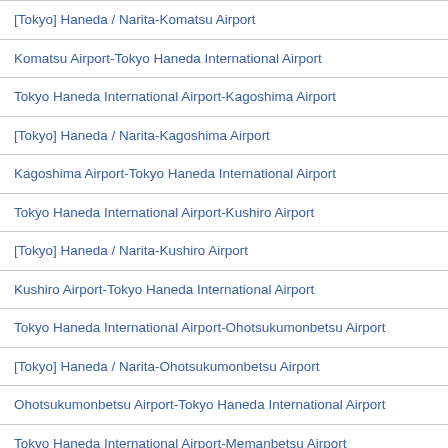[Tokyo] Haneda / Narita-Komatsu Airport
Komatsu Airport-Tokyo Haneda International Airport
Tokyo Haneda International Airport-Kagoshima Airport
[Tokyo] Haneda / Narita-Kagoshima Airport
Kagoshima Airport-Tokyo Haneda International Airport
Tokyo Haneda International Airport-Kushiro Airport
[Tokyo] Haneda / Narita-Kushiro Airport
Kushiro Airport-Tokyo Haneda International Airport
Tokyo Haneda International Airport-Ohotsukumonbetsu Airport
[Tokyo] Haneda / Narita-Ohotsukumonbetsu Airport
Ohotsukumonbetsu Airport-Tokyo Haneda International Airport
Tokyo Haneda International Airport-Memanbetsu Airport
[Tokyo] Haneda / Narita-Memanbetsu Airport
Memanbetsu Airport-Tokyo Haneda International Airport